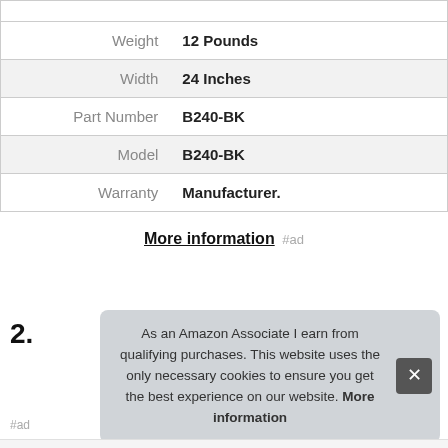| Attribute | Value |
| --- | --- |
| Weight | 12 Pounds |
| Width | 24 Inches |
| Part Number | B240-BK |
| Model | B240-BK |
| Warranty | Manufacturer. |
More information #ad
2.
As an Amazon Associate I earn from qualifying purchases. This website uses the only necessary cookies to ensure you get the best experience on our website. More information